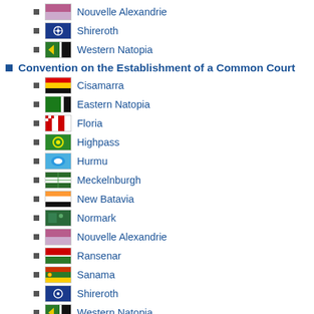Nouvelle Alexandrie
Shireroth
Western Natopia
Convention on the Establishment of a Common Court
Cisamarra
Eastern Natopia
Floria
Highpass
Hurmu
Meckelnburgh
New Batavia
Normark
Nouvelle Alexandrie
Ransenar
Sanama
Shireroth
Western Natopia
Micras Intellectual Property Protection Act (MIPPA)
Eastern Natopia
Floria
Meckelnburgh
New Batavia